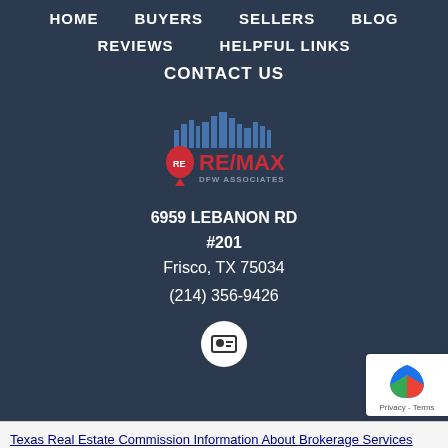HOME   BUYERS   SELLERS   BLOG
REVIEWS   HELPFUL LINKS
CONTACT US
[Figure (logo): RE/MAX DFW Associates logo with city skyline graphic above red RE/MAX balloon icon and red/blue RE/MAX text]
6959 LEBANON RD #201
Frisco, TX 75034
(214) 356-9426
[Figure (other): White contact/vcard icon in a white circle button]
[Figure (other): reCAPTCHA privacy badge]
Texas Real Estate Commission Information About Brokerage Services